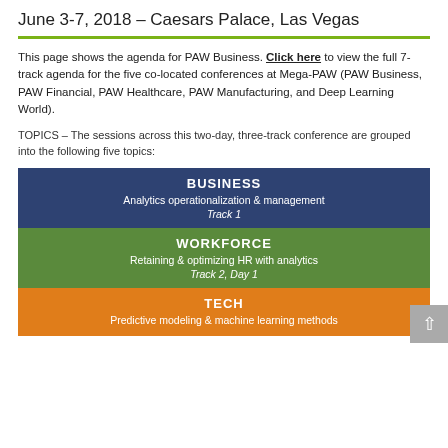June 3-7, 2018 – Caesars Palace, Las Vegas
This page shows the agenda for PAW Business. Click here to view the full 7-track agenda for the five co-located conferences at Mega-PAW (PAW Business, PAW Financial, PAW Healthcare, PAW Manufacturing, and Deep Learning World).
TOPICS – The sessions across this two-day, three-track conference are grouped into the following five topics:
BUSINESS
Analytics operationalization & management
Track 1
WORKFORCE
Retaining & optimizing HR with analytics
Track 2, Day 1
TECH
Predictive modeling & machine learning methods